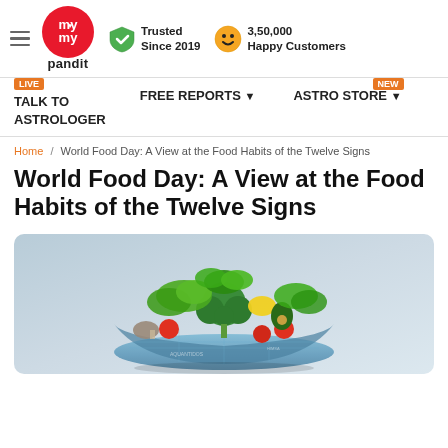my pandit | Trusted Since 2019 | 3,50,000 Happy Customers
TALK TO ASTROLOGER | FREE REPORTS | ASTRO STORE
Home / World Food Day: A View at the Food Habits of the Twelve Signs
World Food Day: A View at the Food Habits of the Twelve Signs
[Figure (photo): A globe-shaped bowl filled with colorful fresh vegetables and fruits including broccoli, tomatoes, lettuce, lemon, and avocado, representing world food diversity.]